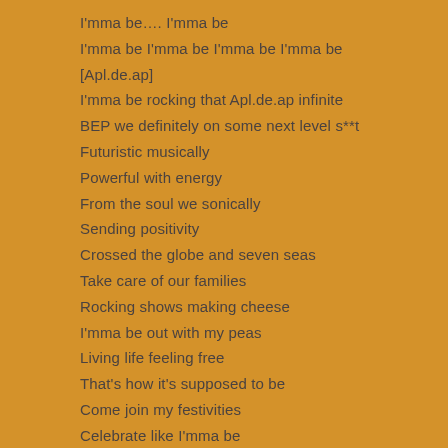I'mma be…. I'mma be
I'mma be I'mma be I'mma be I'mma be
[Apl.de.ap]
I'mma be rocking that Apl.de.ap infinite
BEP we definitely on some next level s**t
Futuristic musically
Powerful with energy
From the soul we sonically
Sending positivity
Crossed the globe and seven seas
Take care of our families
Rocking shows making cheese
I'mma be out with my peas
Living life feeling free
That's how it's supposed to be
Come join my festivities
Celebrate like I'mma be
I'mma be I'mma be I'mma be I'mma be
I'mma be I'mma be I'mma be I'mma be